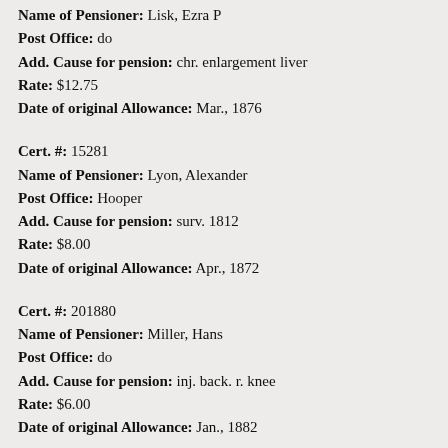Name of Pensioner: Lisk, Ezra P
Post Office: do
Add. Cause for pension: chr. enlargement liver
Rate: $12.75
Date of original Allowance: Mar., 1876
Cert. #: 15281
Name of Pensioner: Lyon, Alexander
Post Office: Hooper
Add. Cause for pension: surv. 1812
Rate: $8.00
Date of original Allowance: Apr., 1872
Cert. #: 201880
Name of Pensioner: Miller, Hans
Post Office: do
Add. Cause for pension: inj. back. r. knee
Rate: $6.00
Date of original Allowance: Jan., 1882
Cert. #: 211029
Name of Pensioner: Potter, Edwin H